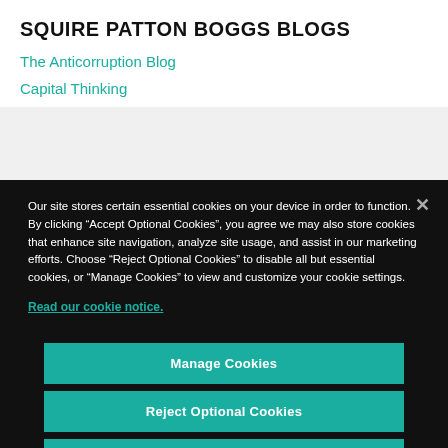SQUIRE PATTON BOGGS BLOGS
The Anticorruption Blog
Capital Thinking
Our site stores certain essential cookies on your device in order to function. By clicking “Accept Optional Cookies”, you agree we may also store cookies that enhance site navigation, analyze site usage, and assist in our marketing efforts. Choose “Reject Optional Cookies” to disable all but essential cookies, or “Manage Cookies” to view and customize your cookie settings.
Read our cookie notice.
Manage Cookies
Reject Optional Cookies
Accept Optional Cookies